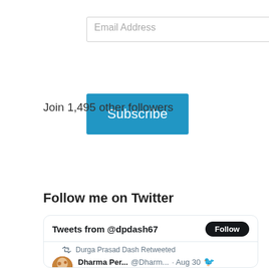[Figure (screenshot): Email Address input field with placeholder text]
[Figure (screenshot): Blue Subscribe button]
Join 1,495 other followers
[Figure (screenshot): Follow PEBBLES AND WAVES button with WordPress icon]
Follow me on Twitter
[Figure (screenshot): Twitter widget showing Tweets from @dpdash67 with a Follow button and a retweet by Durga Prasad Dash from Dharma Per... @Dharm... Aug 30, Replying to @BharadwajAgain]